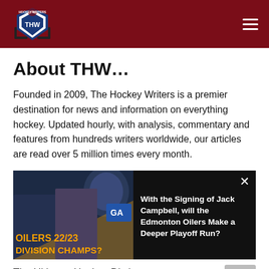THW - The Hockey Writers
About THW…
Founded in 2009, The Hockey Writers is a premier destination for news and information on everything hockey. Updated hourly, with analysis, commentary and features from hundreds writers worldwide, our articles are read over 5 million times every month.
[Figure (screenshot): Video thumbnail showing Edmonton Oilers 22/23 Division Champs? segment with a female presenter and hockey imagery, alongside title: With the Signing of Jack Campbell, will the Edmonton Oilers Make a Deeper Playoff Run?]
The Ultimate Hockey Dictionary